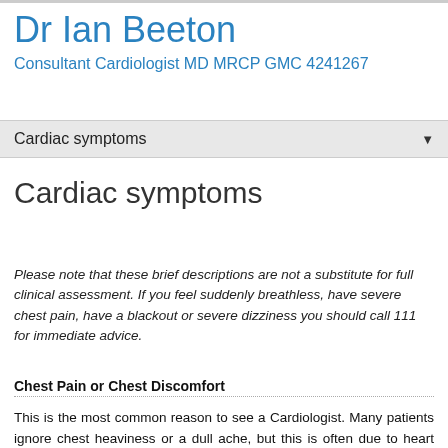Dr Ian Beeton
Consultant Cardiologist MD MRCP GMC 4241267
Cardiac symptoms ▼
Cardiac symptoms
Please note that these brief descriptions are not a substitute for full clinical assessment. If you feel suddenly breathless, have severe chest pain, have a blackout or severe dizziness you should call 111 for immediate advice.
Chest Pain or Chest Discomfort
This is the most common reason to see a Cardiologist. Many patients ignore chest heaviness or a dull ache, but this is often due to heart disease. There are many causes of chest pain, but it is important that you tell your Doctor promptly if you are getting chest pain. A Cardiologist will be able to assess if have angina (chest pain due to heart artery narrowing)